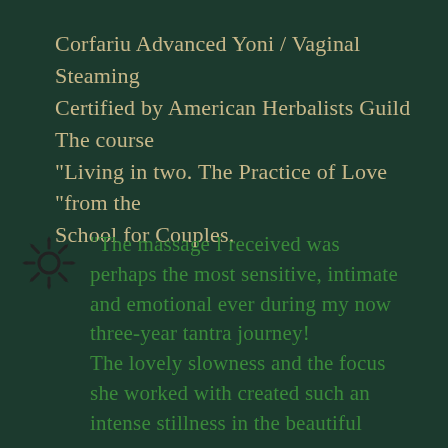Corfariu Advanced Yoni / Vaginal Steaming Certified by American Herbalists Guild The course "Living in two. The Practice of Love "from the School for Couples.
"The massage I received was perhaps the most sensitive, intimate and emotional ever during my now three-year tantra journey! The lovely slowness and the focus she worked with created such an intense stillness in the beautiful